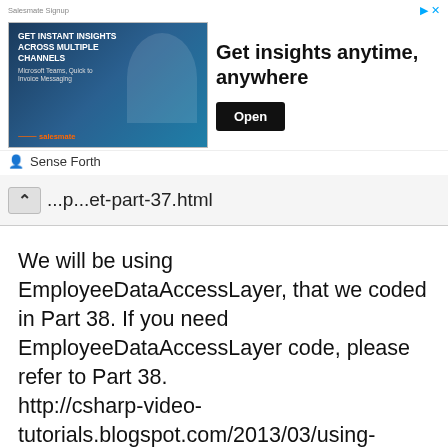[Figure (screenshot): Advertisement banner for 'Get insights anytime, anywhere' with an image of a woman using a phone, an Open button, and Sense Forth branding]
...p...et-part-37.html
We will be using EmployeeDataAccessLayer, that we coded in Part 38. If you need EmployeeDataAccessLayer code, please refer to Part 38. http://csharp-video-tutorials.blogspot.com/2013/03/using-objectdatasource-control-with.html
Drag and drop a gridview control and a